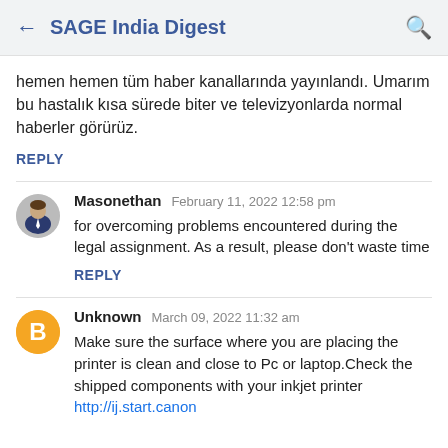← SAGE India Digest 🔍
hemen hemen tüm haber kanallarında yayınlandı. Umarım bu hastalık kısa sürede biter ve televizyonlarda normal haberler görürüz.
REPLY
Masonethan  February 11, 2022 12:58 pm
for overcoming problems encountered during the legal assignment. As a result, please don't waste time
REPLY
Unknown  March 09, 2022 11:32 am
Make sure the surface where you are placing the printer is clean and close to Pc or laptop.Check the shipped components with your inkjet printer http://ij.start.canon